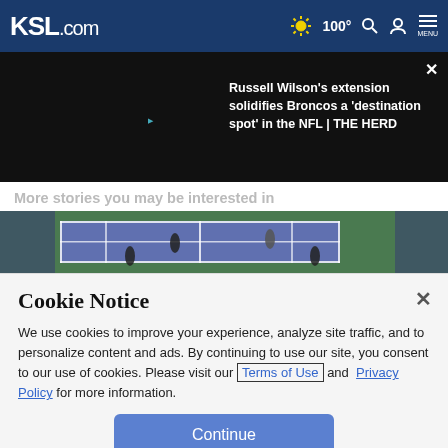KSL.com | 100° | Search | Account | MENU
[Figure (screenshot): Video player area with dark background showing title: Russell Wilson's extension solidifies Broncos a 'destination spot' in the NFL | THE HERD, with close button]
More stories you may be interested in
[Figure (photo): Tennis court aerial view with players on court]
Cookie Notice
We use cookies to improve your experience, analyze site traffic, and to personalize content and ads. By continuing to use our site, you consent to our use of cookies. Please visit our Terms of Use and Privacy Policy for more information.
Continue